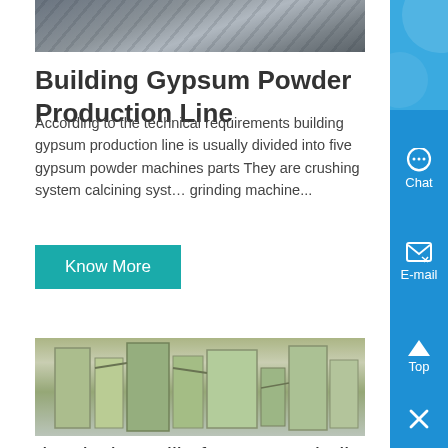[Figure (photo): Top partial photo of industrial gypsum production equipment, metallic/grey surfaces]
Building Gypsum Powder Production Line
According to the technical requirements building gypsum production line is usually divided into five gypsum powder machines parts They are crushing system calcining system grinding machine...
Know More
[Figure (photo): Industrial gypsum grinding production facility interior with large yellow/green machinery and dust collection equipment]
density bar mill of gypsum grinding production line chile